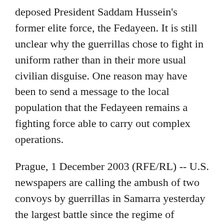deposed President Saddam Hussein's former elite force, the Fedayeen. It is still unclear why the guerrillas chose to fight in uniform rather than in their more usual civilian disguise. One reason may have been to send a message to the local population that the Fedayeen remains a fighting force able to carry out complex operations.
Prague, 1 December 2003 (RFE/RL) -- U.S. newspapers are calling the ambush of two convoys by guerrillas in Samarra yesterday the largest battle since the regime of President Saddam Hussein was toppled in April.
The battle saw some 100 insurgents firing from the street and rooftops as the convoys drove through the city. During the action, U.S. forces responded with technology as fire apparently killing